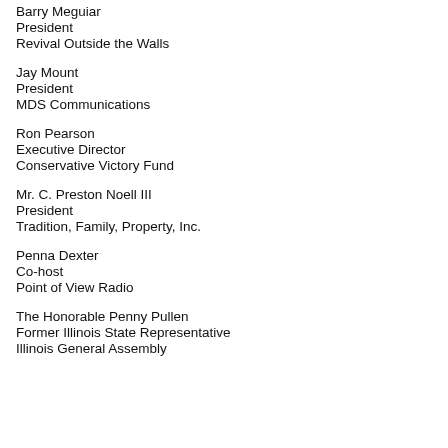Barry Meguiar
President
Revival Outside the Walls
Jay Mount
President
MDS Communications
Ron Pearson
Executive Director
Conservative Victory Fund
Mr. C. Preston Noell III
President
Tradition, Family, Property, Inc.
Penna Dexter
Co-host
Point of View Radio
The Honorable Penny Pullen
Former Illinois State Representative
Illinois General Assembly